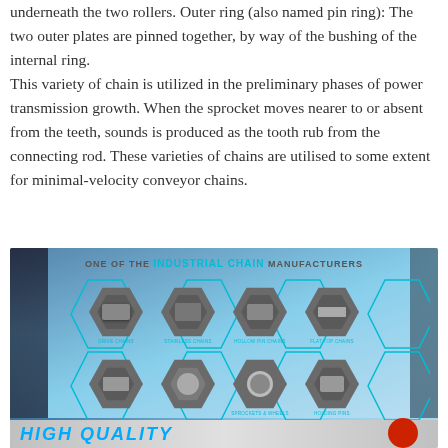underneath the two rollers. Outer ring (also named pin ring): The two outer plates are pinned together, by way of the bushing of the internal ring. This variety of chain is utilized in the preliminary phases of power transmission growth. When the sprocket moves nearer to or absent from the teeth, sounds is produced as the tooth rub from the connecting rod. These varieties of chains are utilised to some extent for minimal-velocity conveyor chains.
[Figure (illustration): Industrial chain manufacturer promotional banner showing hexagonal grid of chain product images (drive chains, stainless steel chains, hollow pin chains, flat top chains, etc.) against an industrial background, with text 'ONE OF THE INDUSTRIAL CHAIN MANUFACTURERS', 'COMPANY PROFILE' tag, and 'HIGH QUALITY' text at the bottom.]